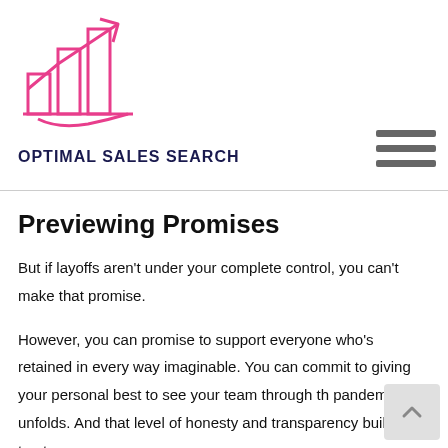[Figure (logo): Optimal Sales Search logo: pink outline bar chart with upward arrow]
OPTIMAL SALES SEARCH
Previewing Promises
But if layoffs aren't under your complete control, you can't make that promise.
However, you can promise to support everyone who's retained in every way imaginable. You can commit to giving your personal best to see your team through the pandemic as it unfolds. And that level of honesty and transparency builds trust.